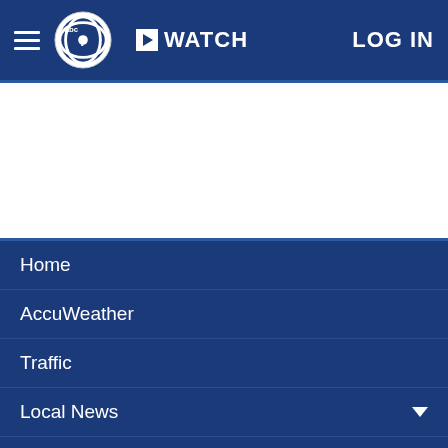abc7 WATCH LOG IN
[Figure (screenshot): White advertisement banner area]
Home
AccuWeather
Traffic
Local News ▼
Categories ▼
Station Info ▼
Shows ▼
Apps
[Figure (logo): ABC7 Eyewitness News logo with globe and NEWS text partially visible]